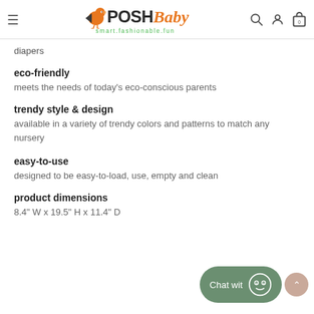PoshBaby — smart.fashionable.fun
diapers
eco-friendly
meets the needs of today's eco-conscious parents
trendy style & design
available in a variety of trendy colors and patterns to match any nursery
easy-to-use
designed to be easy-to-load, use, empty and clean
product dimensions
8.4" W x 19.5" H x 11.4" D